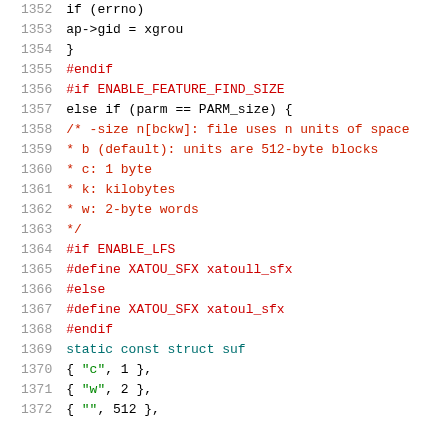Source code listing, lines 1352-1372, C preprocessor and code
1352    if (errno)
1353        ap->gid = xgrou
1354            }
1355    #endif
1356    #if ENABLE_FEATURE_FIND_SIZE
1357            else if (parm == PARM_size) {
1358    /* -size n[bckw]: file uses n units of space
1359     * b (default): units are 512-byte blocks
1360     * c: 1 byte
1361     * k: kilobytes
1362     * w: 2-byte words
1363     */
1364    #if ENABLE_LFS
1365    #define XATOU_SFX xatoull_sfx
1366    #else
1367    #define XATOU_SFX xatoul_sfx
1368    #endif
1369            static const struct suf
1370                { "c", 1 },
1371                { "w", 2 },
1372                { "", 512 },